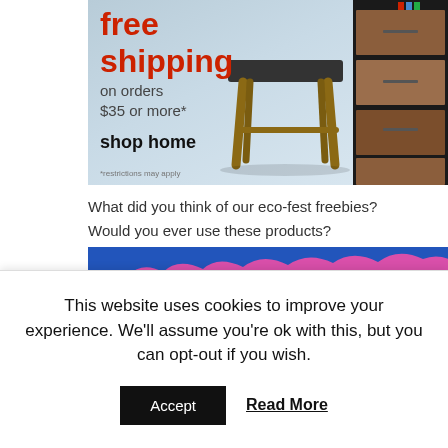[Figure (illustration): Advertisement banner showing 'free shipping on orders $35 or more*' with 'shop home' call to action, featuring a wooden stool and wooden cabinet on a light blue gradient background. Small text: '*restrictions may apply']
What did you think of our eco-fest freebies?
Would you ever use these products?
[Figure (illustration): Blue and pink banner reading 'The Best Eco-Fest Freebies' in white serif text on a blue background with a pink torn-paper style shape in the middle]
This website uses cookies to improve your experience. We'll assume you're ok with this, but you can opt-out if you wish.